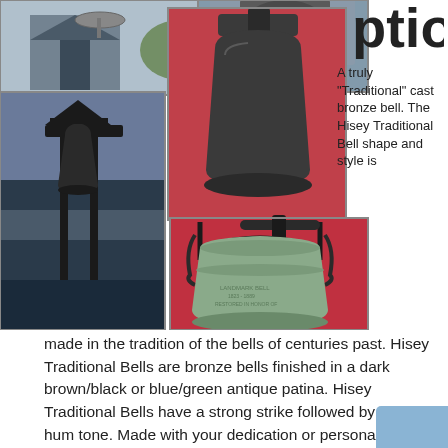[Figure (photo): Collage of four photos showing traditional cast bronze bells: top-left shows a bell tower structure outdoors, center shows a dark bronze bell on red background, bottom-left shows a bell on a black frame stand at dusk, bottom-right shows a green/blue patina bell on red background with decorative yoke]
ption
A truly “Traditional” cast bronze bell. The Hisey Traditional Bell shape and style is made in the tradition of the bells of centuries past.  Hisey Traditional Bells are bronze bells finished in a dark brown/black or blue/green antique patina.  Hisey Traditional Bells have a strong strike followed by a long hum tone.  Made with your dedication or personalization cast in raised relief text in block paragraph form on the face of the bell at no extra charge.  A great finishing touch to any type of application or architecture.  Available in 6, 8, 10, 12,